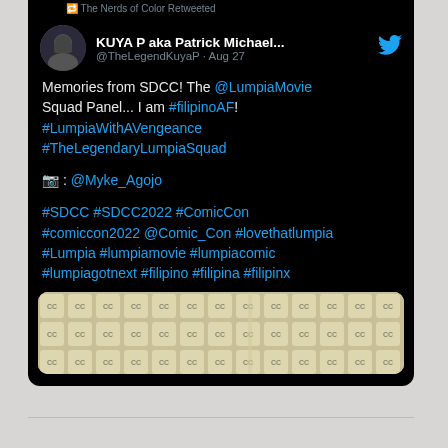The Nerds of Color Retweeted
KUYA P aka Patrick Michael... @TheLegendKuyaP · Aug 27
Memories from SDCC! The @LumpiaMovie Squad Panel... I am #filipinoAF! #LumpiaWithAVengeance #TheLegendaryLumpiaSquad

📷 : @Myke_Agojo

#SDCC #SDCC2022 #ComicCon #comiccon2022 @Comic_Con #lovethatlumpia #Lumpia #lumpiamovie #lumpiacomic #lumpiagotnext #filipino #filipina #filipinx
[Figure (photo): SDCC Comic-Con branded pattern photo strip showing Comic-Con logos repeated across fabric or material]